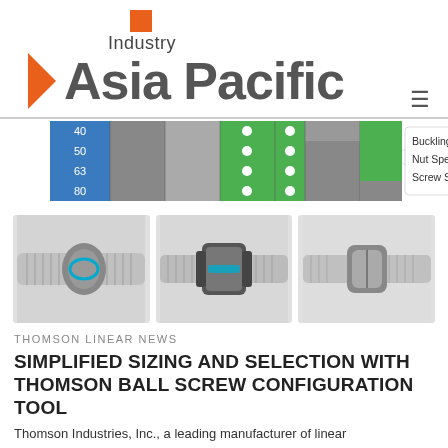[Figure (logo): Industry Asia Pacific magazine logo with orange square, orange arrow, and bold gray text]
[Figure (table-as-image): Ball screw sizing table with blue row labels (40, 50, 63, 80), green and gray cells, and tooltip showing Buckling: 4884.5x, Nut Speed: 5x, Screw Speed: 11.1x]
[Figure (photo): Three photos of Thomson ball screw mechanical components]
THOMSON LINEAR NEWS
SIMPLIFIED SIZING AND SELECTION WITH THOMSON BALL SCREW CONFIGURATION TOOL
Thomson Industries, Inc., a leading manufacturer of linear